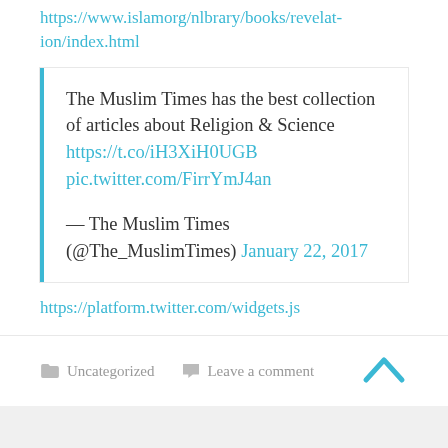https://www.islamorg/nlbrary/books/revelat-ion/index.html
The Muslim Times has the best collection of articles about Religion & Science https://t.co/iH3XiH0UGB pic.twitter.com/FirrYmJ4an

— The Muslim Times (@The_MuslimTimes) January 22, 2017
https://platform.twitter.com/widgets.js
Uncategorized  Leave a comment